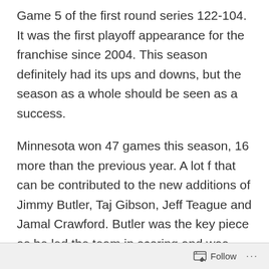Game 5 of the first round series 122-104. It was the first playoff appearance for the franchise since 2004. This season definitely had its ups and downs, but the season as a whole should be seen as a success.
Minnesota won 47 games this season, 16 more than the previous year. A lot f that can be contributed to the new additions of Jimmy Butler, Taj Gibson, Jeff Teague and Jamal Crawford. Butler was the key piece as he led the team in scoring and was top-10 MVP candidate until his knee injury in February. Karl-Anthony Towns notched his first all-star selection and is still coming into his own as a 22-year-old budding superstar. Role players like Tyus Jones and Nemanja
Follow ···